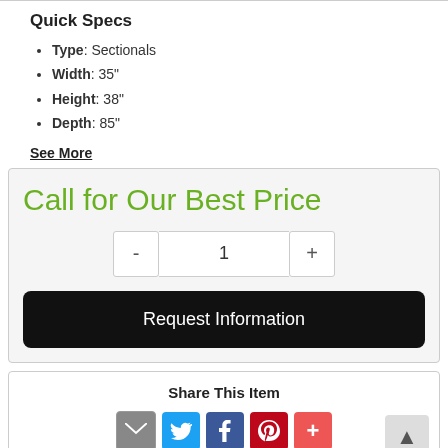Quick Specs
Type: Sectionals
Width: 35"
Height: 38"
Depth: 85"
See More
Call for Our Best Price
1
Request Information
Share This Item